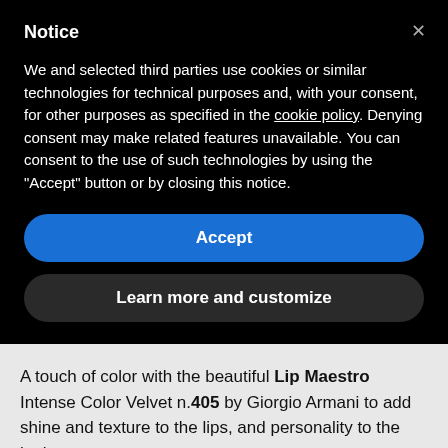Notice
We and selected third parties use cookies or similar technologies for technical purposes and, with your consent, for other purposes as specified in the cookie policy. Denying consent may make related features unavailable. You can consent to the use of such technologies by using the "Accept" button or by closing this notice.
Accept
Learn more and customize
A touch of color with the beautiful Lip Maestro Intense Color Velvet n.405 by Giorgio Armani to add shine and texture to the lips, and personality to the look.